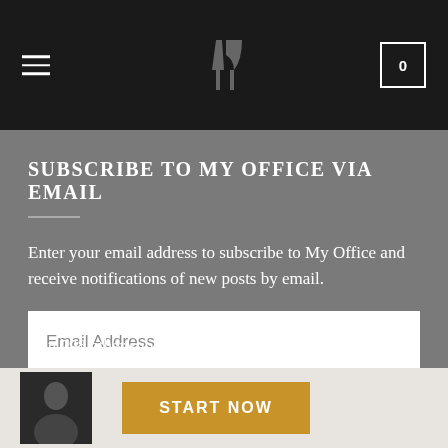≡  [logo/icon]  0
SUBSCRIBE TO MY OFFICE VIA EMAIL
Enter your email address to subscribe to My Office and receive notifications of new posts by email.
Email Address
SUBSCRIBE
Join 798 other subscribers
START NOW